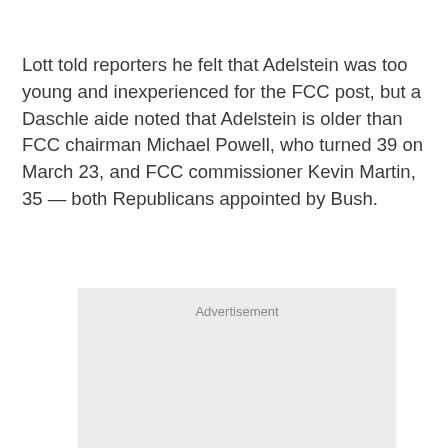Lott told reporters he felt that Adelstein was too young and inexperienced for the FCC post, but a Daschle aide noted that Adelstein is older than FCC chairman Michael Powell, who turned 39 on March 23, and FCC commissioner Kevin Martin, 35 — both Republicans appointed by Bush.
[Figure (other): Advertisement placeholder box with light gray background and 'Advertisement' label text centered at the top.]